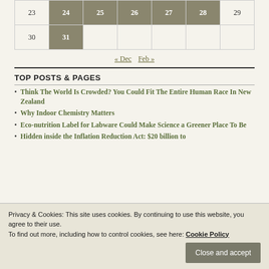| 23 | 24 | 25 | 26 | 27 | 28 | 29 |
| 30 | 31 |  |  |  |  |  |
« Dec   Feb »
TOP POSTS & PAGES
Think The World Is Crowded? You Could Fit The Entire Human Race In New Zealand
Why Indoor Chemistry Matters
Eco-nutrition Label for Labware Could Make Science a Greener Place To Be
Hidden inside the Inflation Reduction Act: $20 billion to
Privacy & Cookies: This site uses cookies. By continuing to use this website, you agree to their use.
To find out more, including how to control cookies, see here: Cookie Policy
Close and accept